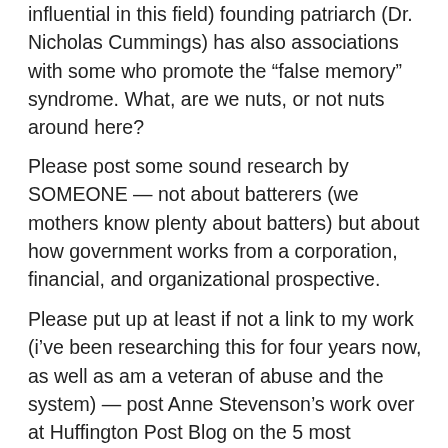influential in this field) founding patriarch (Dr. Nicholas Cummings) has also associations with some who promote the “false memory” syndrome. What, are we nuts, or not nuts around here?
Please post some sound research by SOMEONE — not about batterers (we mothers know plenty about batters) but about how government works from a corporation, financial, and organizational prospective.
Please put up at least if not a link to my work (i’ve been researching this for four years now, as well as am a veteran of abuse and the system) — post Anne Stevenson’s work over at Huffington Post Blog on the 5 most dangerous programs at HHS. At least sprinkle a few clues